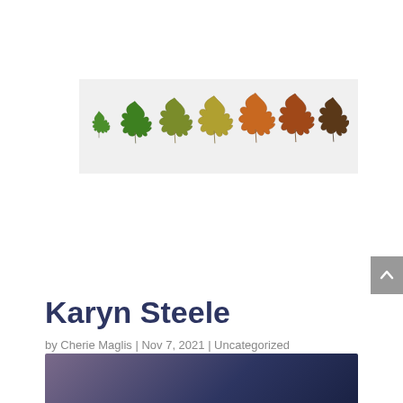[Figure (illustration): A row of seven maple leaves in varying stages of autumnal color change, from small bright green on the left to progressively larger and more orange/brown/dark on the right, displayed on a light gray banner background.]
Karyn Steele
by Cherie Maglis | Nov 7, 2021 | Uncategorized
[Figure (photo): Partial view of a dark blue/purple gradient photograph, cropped at the bottom of the page.]